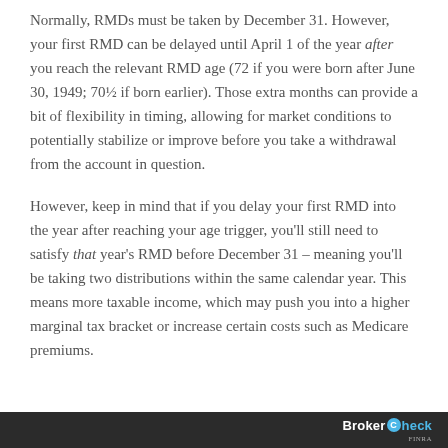Normally, RMDs must be taken by December 31. However, your first RMD can be delayed until April 1 of the year after you reach the relevant RMD age (72 if you were born after June 30, 1949; 70½ if born earlier). Those extra months can provide a bit of flexibility in timing, allowing for market conditions to potentially stabilize or improve before you take a withdrawal from the account in question.
However, keep in mind that if you delay your first RMD into the year after reaching your age trigger, you'll still need to satisfy that year's RMD before December 31 – meaning you'll be taking two distributions within the same calendar year. This means more taxable income, which may push you into a higher marginal tax bracket or increase certain costs such as Medicare premiums.
BrokerCheck FINRA